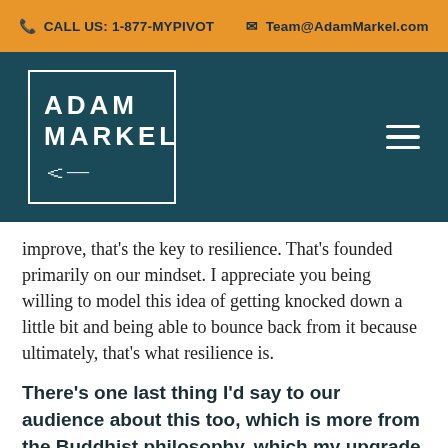CALL US: 1-877-MYPIVOT   Team@AdamMarkel.com
[Figure (logo): Adam Markel logo: white text 'ADAM MARKEL' with signature inside a white border box on dark teal background, with hamburger menu icon on the right]
improve, that's the key to resilience. That's founded primarily on our mindset. I appreciate you being willing to model this idea of getting knocked down a little bit and being able to bounce back from it because ultimately, that's what resilience is.
There's one last thing I'd say to our audience about this too, which is more from the Buddhist philosophy, which my upgrade for 2020 was to dig into more of my mindfulness